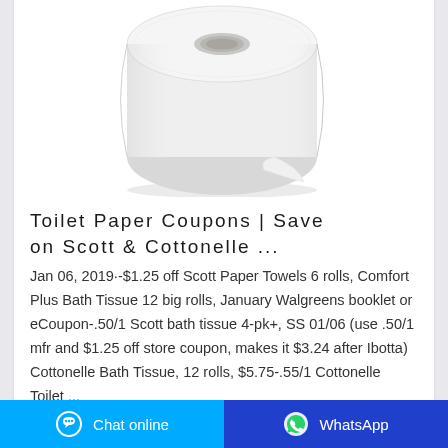[Figure (photo): A single white toilet paper roll viewed from a slight angle, showing the roll resting on a white background.]
Toilet Paper Coupons | Save on Scott & Cottonelle ...
Jan 06, 2019·-$1.25 off Scott Paper Towels 6 rolls, Comfort Plus Bath Tissue 12 big rolls, January Walgreens booklet or eCoupon-.50/1 Scott bath tissue 4-pk+, SS 01/06 (use .50/1 mfr and $1.25 off store coupon, makes it $3.24 after Ibotta) Cottonelle Bath Tissue, 12 rolls, $5.75-.55/1 Cottonelle Toilet ...
Chat online | WhatsApp